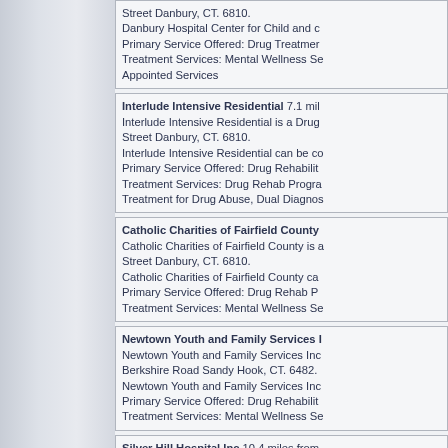Street Danbury, CT. 6810. Danbury Hospital Center for Child and c... Primary Service Offered: Drug Treatment... Treatment Services: Mental Wellness Se... Appointed Services
Interlude Intensive Residential 7.1 mi... Interlude Intensive Residential is a Drug... Street Danbury, CT. 6810. Interlude Intensive Residential can be co... Primary Service Offered: Drug Rehabilita... Treatment Services: Drug Rehab Progra... Treatment for Drug Abuse, Dual Diagnos...
Catholic Charities of Fairfield County... Catholic Charities of Fairfield County is a... Street Danbury, CT. 6810. Catholic Charities of Fairfield County ca... Primary Service Offered: Drug Rehab P... Treatment Services: Mental Wellness Se...
Newtown Youth and Family Services I... Newtown Youth and Family Services Inc... Berkshire Road Sandy Hook, CT. 6482. Newtown Youth and Family Services Inc... Primary Service Offered: Drug Rehabilit... Treatment Services: Mental Wellness Se...
Silver Hill Hospital Inc 10.4 miles from... Silver Hill Hospital Inc is a Drug Rehabi...